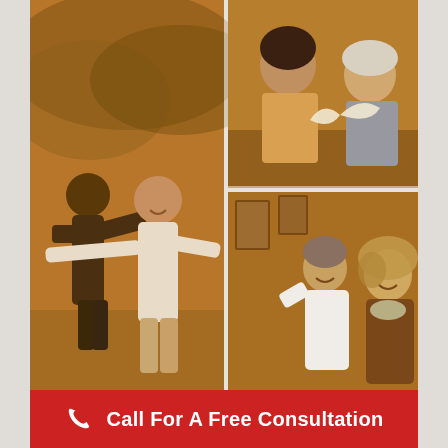[Figure (photo): Collage of five sepia-toned photos showing active seniors and caregivers: top-left shows two women exercising outdoors with arms spread; top-right shows two women smiling and reading together; middle-right shows a man and woman laughing together in a gallery; bottom shows two women outdoors smiling.]
Call For A Free Consultation